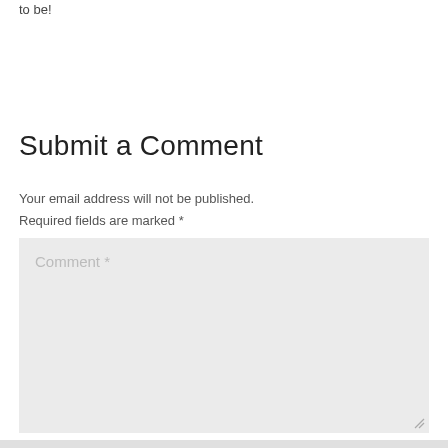to be!
Submit a Comment
Your email address will not be published. Required fields are marked *
[Figure (screenshot): Comment text area input field with placeholder text 'Comment *' and a resize handle in the bottom right corner]